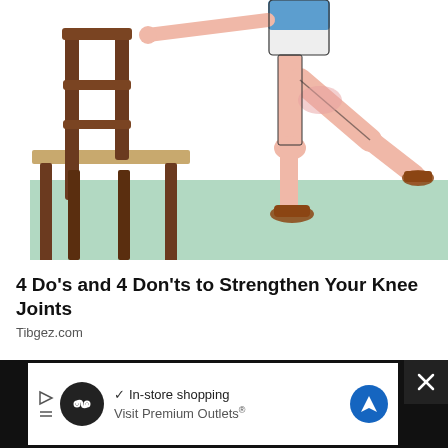[Figure (illustration): An illustration showing a person standing next to a chair performing a knee exercise. The person is wearing white shorts and a blue top, holding the chair back for balance, with one leg raised behind them. The floor is teal/green colored. A chair with a brown wooden back is on the left side.]
4 Do's and 4 Don'ts to Strengthen Your Knee Joints
Tibgez.com
[Figure (screenshot): Advertisement banner at bottom. Shows a dark background with a white ad panel. Contains a circular icon with infinity symbol, play/close buttons, a blue checkmark with 'In-store shopping' text, a blue navigation/directions icon, and 'Visit Premium Outlets®' text.]